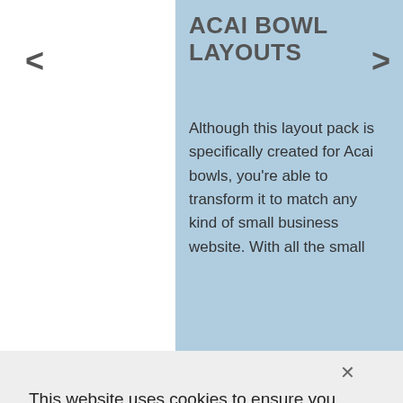ACAI BOWL LAYOUTS
Although this layout pack is specifically created for Acai bowls, you're able to transform it to match any kind of small business website. With all the small
This website uses cookies to ensure you get the best experience on our website.
Learn more
Decline
Accept